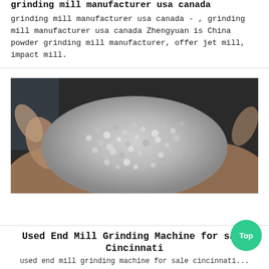grinding mill manufacturer usa canada
grinding mill manufacturer usa canada - , grinding mill manufacturer usa canada Zhengyuan is China powder grinding mill manufacturer, offer jet mill, impact mill.
[Figure (photo): Close-up photo of a pair of hands cupping grey granular powder or crushed mineral material, against a dark background.]
Used End Mill Grinding Machine for sale Cincinnati
used end mill grinding machine for sale cincinnati...